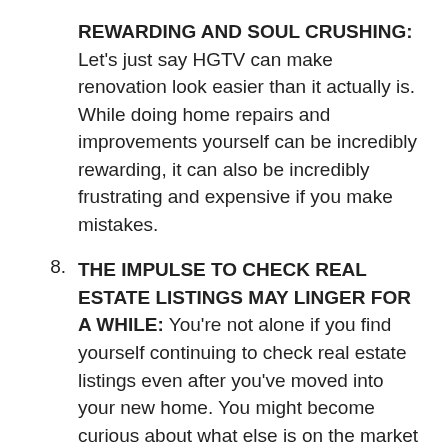REWARDING AND SOUL CRUSHING: Let's just say HGTV can make renovation look easier than it actually is. While doing home repairs and improvements yourself can be incredibly rewarding, it can also be incredibly frustrating and expensive if you make mistakes.
8. THE IMPULSE TO CHECK REAL ESTATE LISTINGS MAY LINGER FOR A WHILE: You're not alone if you find yourself continuing to check real estate listings even after you've moved into your new home. You might become curious about what else is on the market in your